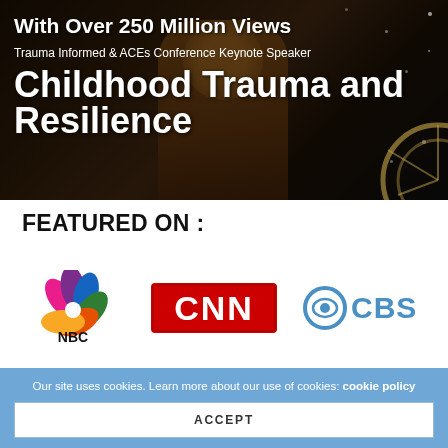[Figure (photo): Dark background hero image with a speaker on stage, text overlay showing views and speaker topic]
With Over 250 Million Views
Trauma Informed & ACEs Conference Keynote Speaker
Childhood Trauma and Resilience
FEATURED ON :
[Figure (logo): NBC logo with colorful peacock feathers and NBC text]
[Figure (logo): CNN logo in red with white text]
[Figure (logo): CBS logo in blue with eye symbol]
Our site uses cookies. Learn more about our use of cookies: cookie policy
ACCEPT